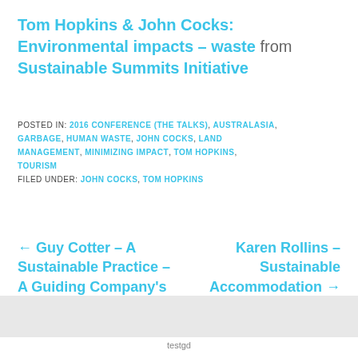Tom Hopkins & John Cocks: Environmental impacts – waste from Sustainable Summits Initiative
POSTED IN: 2016 CONFERENCE (THE TALKS), AUSTRALASIA, GARBAGE, HUMAN WASTE, JOHN COCKS, LAND MANAGEMENT, MINIMIZING IMPACT, TOM HOPKINS, TOURISM
FILED UNDER: JOHN COCKS, TOM HOPKINS
← Guy Cotter – A Sustainable Practice – A Guiding Company's Role
Karen Rollins – Sustainable Accommodation →
testgd